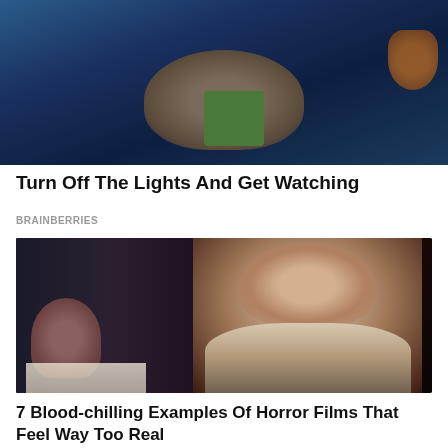[Figure (photo): Movie still showing a person holding a device, filmed in dark blue tones with a car visible]
Turn Off The Lights And Get Watching
BRAINBERRIES
[Figure (photo): Movie still showing a young Asian woman in a white top in a dark restaurant setting, with another woman seated in background]
7 Blood-chilling Examples Of Horror Films That Feel Way Too Real